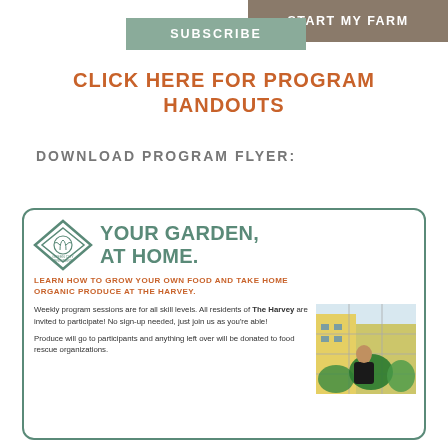START MY FARM
SUBSCRIBE
CLICK HERE FOR PROGRAM HANDOUTS
DOWNLOAD PROGRAM FLYER:
[Figure (illustration): Green City Growers program flyer card with diamond logo, title 'YOUR GARDEN, AT HOME.', subtitle about learning to grow food, body text about weekly sessions at The Harvey, and a photo of a person gardening.]